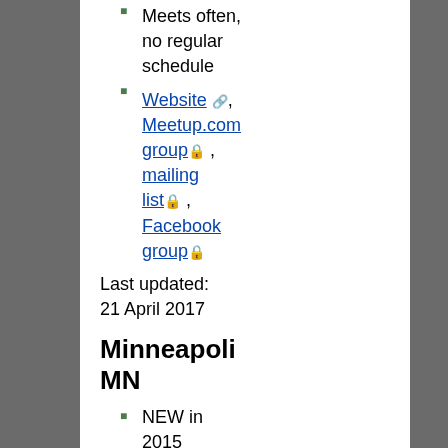Meets often, no regular schedule
Website, Meetup.com group 🔒, mailing list 🔒, Facebook group 🔒
Last updated: 21 April 2017
Minneapolis MN
NEW in 2015
Meets twice/month at noon at